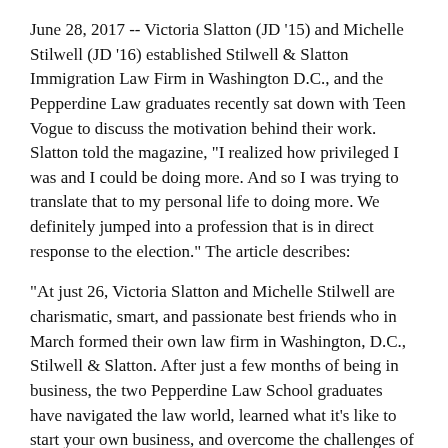June 28, 2017 -- Victoria Slatton (JD '15) and Michelle Stilwell (JD '16) established Stilwell & Slatton Immigration Law Firm in Washington D.C., and the Pepperdine Law graduates recently sat down with Teen Vogue to discuss the motivation behind their work. Slatton told the magazine, "I realized how privileged I was and I could be doing more. And so I was trying to translate that to my personal life to doing more. We definitely jumped into a profession that is in direct response to the election." The article describes:
"At just 26, Victoria Slatton and Michelle Stilwell are charismatic, smart, and passionate best friends who in March formed their own law firm in Washington, D.C., Stilwell & Slatton. After just a few months of being in business, the two Pepperdine Law School graduates have navigated the law world, learned what it's like to start your own business, and overcome the challenges of being two millennial women in a profession with high stakes right in the president's backyard."